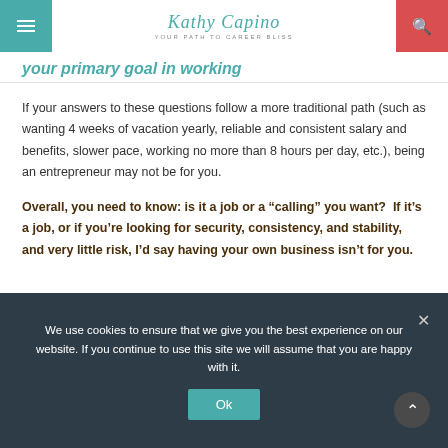Kathy Capino — YOUR PATH TO CAREER BLISS
your primary goal in working
If your answers to these questions follow a more traditional path (such as wanting 4 weeks of vacation yearly, reliable and consistent salary and benefits, slower pace, working no more than 8 hours per day, etc.), being an entrepreneur may not be for you.
Overall, you need to know: is it a job or a “calling” you want?  If it’s a job, or if you’re looking for security, consistency, and stability, and very little risk, I’d say having your own business isn’t for you.
We use cookies to ensure that we give you the best experience on our website. If you continue to use this site we will assume that you are happy with it.